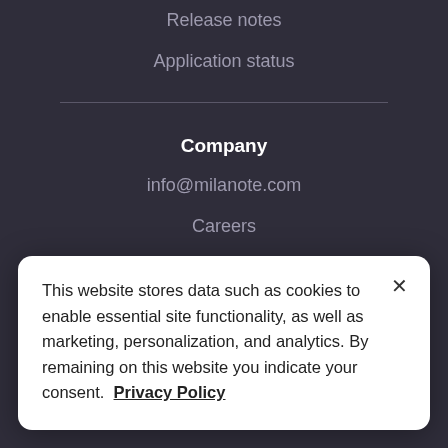Release notes
Application status
Company
info@milanote.com
Careers
Press kit
Privacy policy
Terms of service
Cookies Settings
This website stores data such as cookies to enable essential site functionality, as well as marketing, personalization, and analytics. By remaining on this website you indicate your consent. Privacy Policy